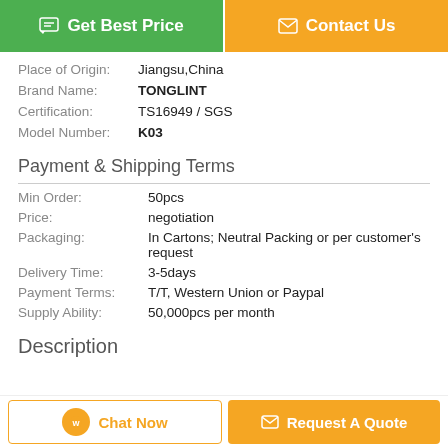[Figure (other): Two buttons: green 'Get Best Price' button and orange 'Contact Us' button]
Place of Origin: Jiangsu,China
Brand Name: TONGLINT
Certification: TS16949 / SGS
Model Number: K03
Payment & Shipping Terms
Min Order: 50pcs
Price: negotiation
Packaging: In Cartons; Neutral Packing or per customer's request
Delivery Time: 3-5days
Payment Terms: T/T, Western Union or Paypal
Supply Ability: 50,000pcs per month
Description
[Figure (other): Bottom bar with 'Chat Now' button (orange outline) and 'Request A Quote' button (orange filled)]